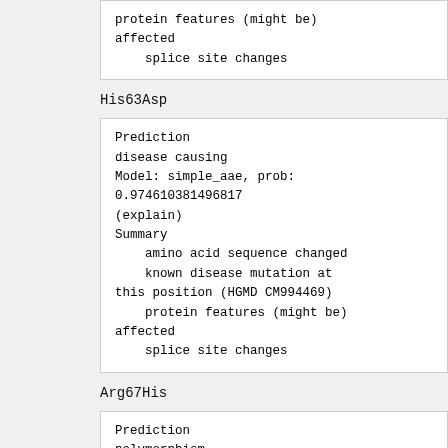protein features (might be) affected
    splice site changes
His63Asp
Prediction
disease causing
Model: simple_aae, prob:
0.974610381496817
(explain)
Summary
    amino acid sequence changed
    known disease mutation at this position (HGMD CM994469)
    protein features (might be) affected
    splice site changes
Arg67His
Prediction
polymorphism
Model: simple_aae, prob:
0.999999997930159
(explain)
Summary
    amino acid sequence changed